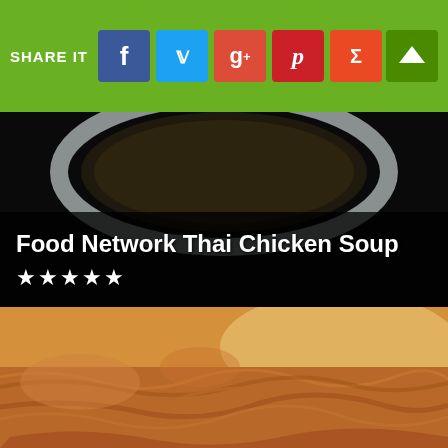SHARE IT
[Figure (photo): Top portion of a bowl of Thai Chicken Soup viewed from above, dark background]
Food Network Thai Chicken Soup
★★★★★
[Figure (photo): Close-up photo of Thai Chicken Soup with noodles and chicken, warm golden tones]